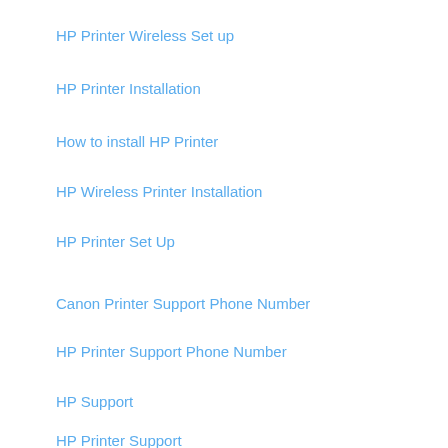HP Printer Wireless Set up
HP Printer Installation
How to install HP Printer
HP Wireless Printer Installation
HP Printer Set Up
Canon Printer Support Phone Number
HP Printer Support Phone Number
HP Support
HP Printer Support
HP Printer Support Number